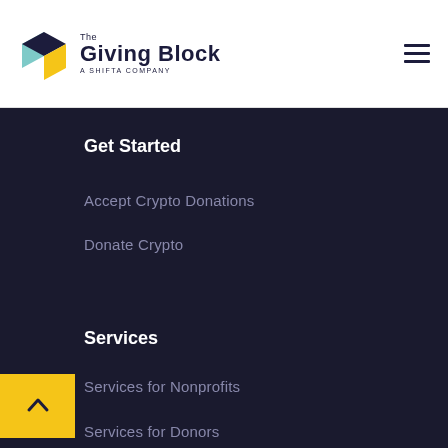[Figure (logo): The Giving Block - A Shifta Company logo with cube icon]
Get Started
Accept Crypto Donations
Donate Crypto
Services
Services for Nonprofits
Services for Donors
Private Client Services